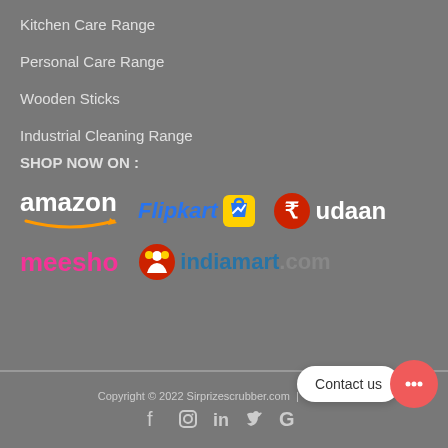Kitchen Care Range
Personal Care Range
Wooden Sticks
Industrial Cleaning Range
SHOP NOW ON :
[Figure (logo): Amazon, Flipkart, Udaan, Meesho, IndiaMart.com logos displayed as shopping platform links]
Copyright © 2022 Sirprizescrubber.com | Built.com